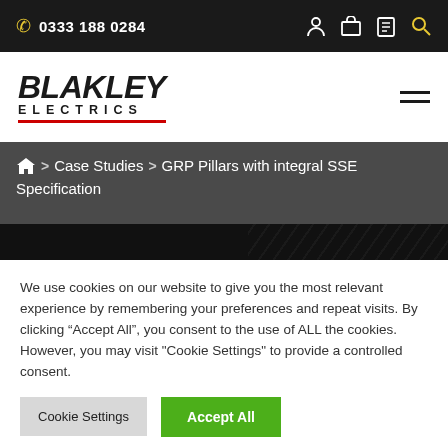0333 188 0284
[Figure (logo): Blakley Electrics logo with bold italic BLAKLEY text and spaced ELECTRICS below with red underline]
Home > Case Studies > GRP Pillars with integral SSE Specification
We use cookies on our website to give you the most relevant experience by remembering your preferences and repeat visits. By clicking "Accept All", you consent to the use of ALL the cookies. However, you may visit "Cookie Settings" to provide a controlled consent.
Cookie Settings | Accept All